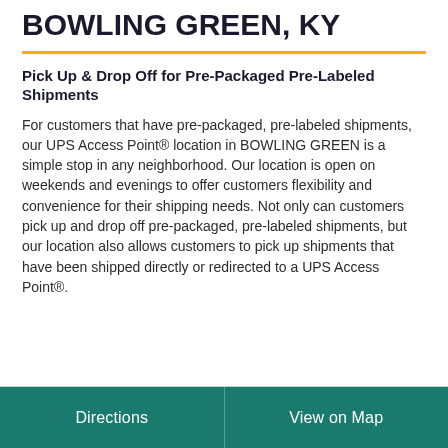BOWLING GREEN, KY
Pick Up & Drop Off for Pre-Packaged Pre-Labeled Shipments
For customers that have pre-packaged, pre-labeled shipments, our UPS Access Point® location in BOWLING GREEN is a simple stop in any neighborhood. Our location is open on weekends and evenings to offer customers flexibility and convenience for their shipping needs. Not only can customers pick up and drop off pre-packaged, pre-labeled shipments, but our location also allows customers to pick up shipments that have been shipped directly or redirected to a UPS Access Point®.
Directions | View on Map